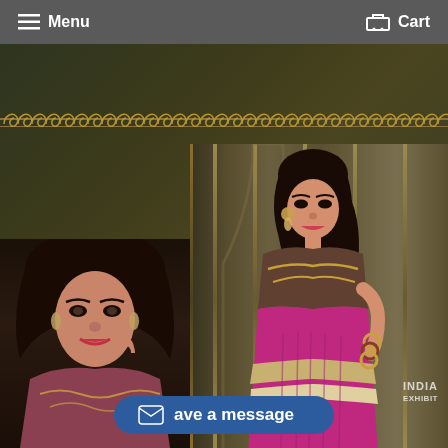Menu   Cart
[Figure (photo): Website screenshot showing a navigation bar with Menu and Cart options, and a fashion photo of a woman wearing a pink/magenta Indian saree with gold embroidered blouse, plus a close-up of another woman in embroidered attire. Decorative gold scroll border across top of image area. An India Exhibit watermark visible. A blue message button at bottom.]
ave a message